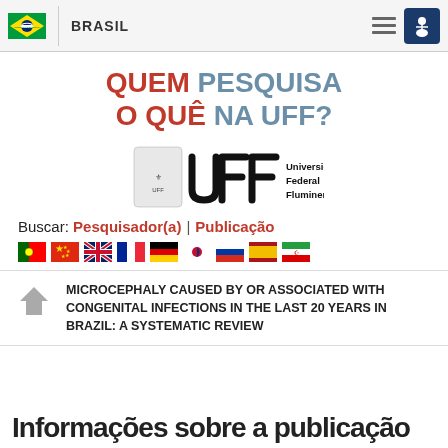BRASIL
QUEM PESQUISA O QUÊ NA UFF?
[Figure (logo): UFF - Universidade Federal Fluminense logo with crest and stylized UFF text]
Buscar: Pesquisador(a) | Publicação
[Figure (infographic): Row of country flags: Portugal, China, UK, France, Germany, South Korea, Russia, Spain, Iran]
MICROCEPHALY CAUSED BY OR ASSOCIATED WITH CONGENITAL INFECTIONS IN THE LAST 20 YEARS IN BRAZIL: A SYSTEMATIC REVIEW